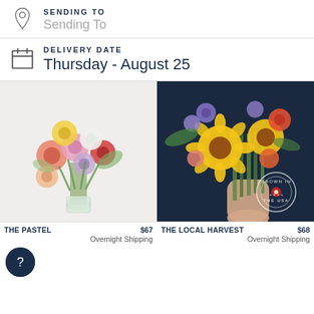SENDING TO
Sending To
DELIVERY DATE
Thursday - August 25
[Figure (photo): Pastel flower bouquet in a glass vase with pink, orange, red, white, and purple ranunculus and roses on a light grey background]
[Figure (photo): Colorful wildflower bouquet held in hand against dark navy background with sunflowers, purple, orange and red flowers; 'Grown in the USA' stamp overlay]
THE PASTEL    $67
Overnight Shipping
THE LOCAL HARVEST    $68
Overnight Shipping